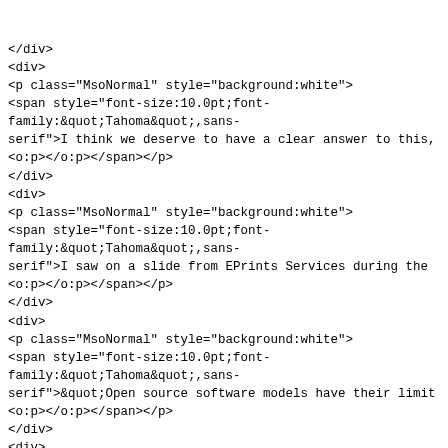<o:p></o:p></span></p>
</div>
<div>
<p class="MsoNormal" style="background:white">
<span style="font-size:10.0pt;font-family:&quot;Tahoma&quot;,sans-serif">I think we deserve to have a clear answer to this,
<o:p></o:p></span></p>
</div>
<div>
<p class="MsoNormal" style="background:white">
<span style="font-size:10.0pt;font-family:&quot;Tahoma&quot;,sans-serif">I saw on a slide from EPrints Services during the
<o:p></o:p></span></p>
</div>
<div>
<p class="MsoNormal" style="background:white">
<span style="font-size:10.0pt;font-family:&quot;Tahoma&quot;,sans-serif">&quot;Open source software models have their limit
<o:p></o:p></span></p>
</div>
<div>
<p class="MsoNormal" style="background:white">
<span style="font-size:10.0pt;font-family:&quot;Tahoma&quot;,sans-serif">That may be so, but I, for one, am deeply committe
<o:p></o:p></span></p>
</div>